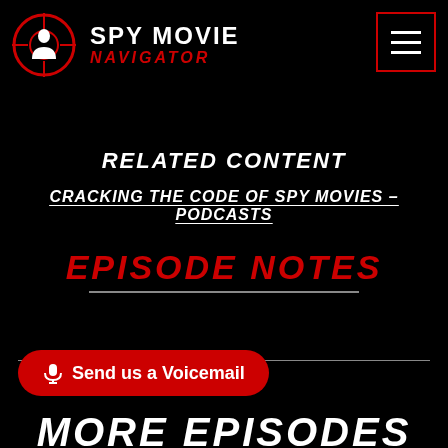[Figure (logo): Spy Movie Navigator logo with crosshair/target circle containing silhouette figure, plus brand name text]
RELATED CONTENT
CRACKING THE CODE OF SPY MOVIES – PODCASTS
EPISODE NOTES
Send us a Voicemail
MORE EPISODES